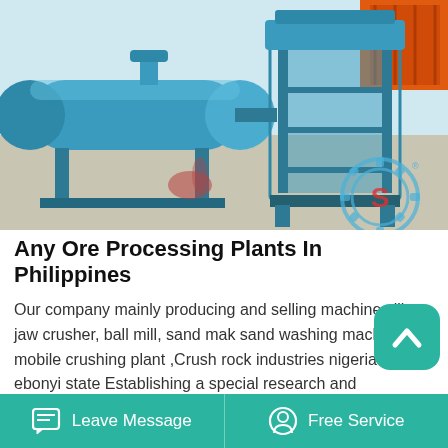[Figure (photo): A blue industrial ore processing machine (magnetic separator/drum) on a concrete floor, with orange equipment visible in the background. A blue gear logo with a stylized 'S' is in the lower right corner of the photo.]
Any Ore Processing Plants In Philippines
Our company mainly producing and selling machines like jaw crusher, ball mill, sand mak sand washing machine, mobile crushing plant ,Crush rock industries nigeria plc ebonyi state Establishing a special research and development base and taking technological innovation as our main duty help us always taking the lead in the field of China mining machinery industry.
Leave Message   Free Service